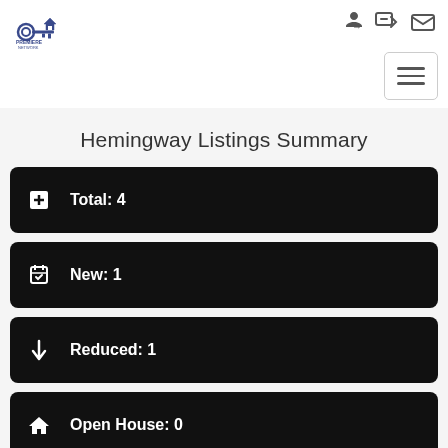[Figure (logo): Key logo with house icon and text]
[Figure (other): Login and email icons in top right]
[Figure (other): Hamburger menu button]
Hemingway Listings Summary
Total: 4
New: 1
Reduced: 1
Open House: 0